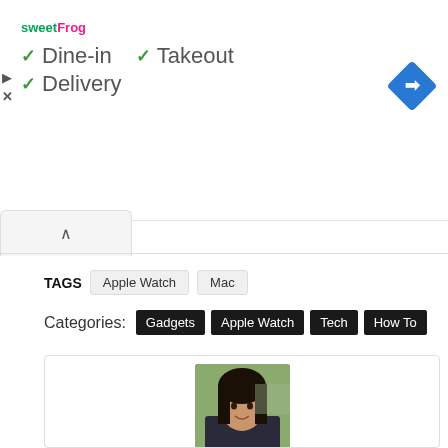[Figure (screenshot): Sweet Frog ad banner showing Dine-in, Takeout, Delivery checkmarks with logo and navigation arrow diamond icon]
✓ Dine-in  ✓ Takeout
✓ Delivery
TAGS   Apple Watch   Mac
Categories:  Gadgets  Apple Watch  Tech  How To
[Figure (photo): Profile photo of Harshaurya Kaur - a woman with dark hair smiling outdoors]
Harshaurya Kaur
Tech enthusiast, content writer but a wanderlust sufferer at heart. A good book along with a cup of coffee is her ideal happy